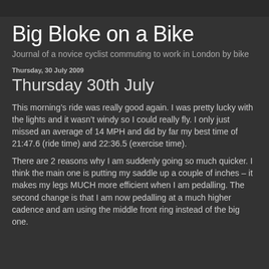Big Bloke on a Bike
Journal of a novice cyclist commuting to work in London by bike
Thursday, 30 July 2009
Thursday 30th July
This morning’s ride was really good again. I was pretty lucky with the lights and it wasn’t windy so I could really fly. I only just missed an average of 14 MPH and did by far my best time of 21:47.6 (ride time) and 22:36.5 (exercise time).
There are 2 reasons why I am suddenly going so much quicker. I think the main one is putting my saddle up a couple of inches – it makes my legs MUCH more efficient when I am pedalling. The second change is that I am now pedalling at a much higher cadence and am using the middle front ring instead of the big one.